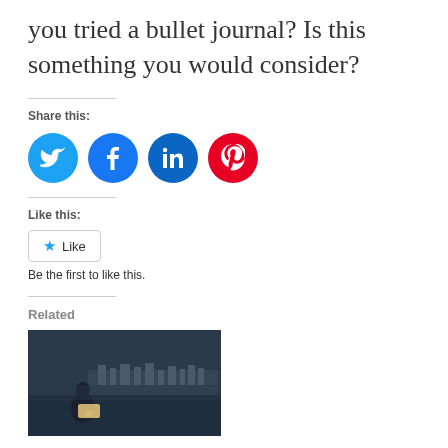you tried a bullet journal? Is this something you would consider?
Share this:
[Figure (infographic): Social media share icons: Twitter (blue), Facebook (dark blue), LinkedIn (blue), Pinterest (red)]
Like this:
Like
Be the first to like this.
Related
[Figure (photo): A person reading an illuminated book while standing in water, with a dark misty cityscape in the background.]